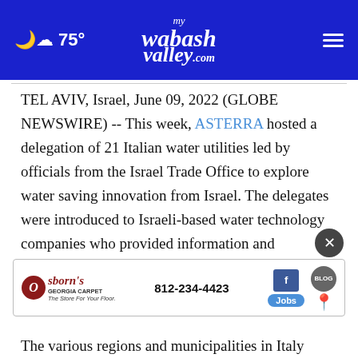75° mywabashvalley.com
TEL AVIV, Israel, June 09, 2022 (GLOBE NEWSWIRE) -- This week, ASTERRA hosted a delegation of 21 Italian water utilities led by officials from the Israel Trade Office to explore water saving innovation from Israel. The delegates were introduced to Israeli-based water technology companies who provided information and opportunities to bring the innovation to their utilities in Italy.
[Figure (other): Advertisement banner for Osborn's Georgia Carpet with phone number 812-234-4423, Facebook icon, Jobs button, map pin icon, and Blog icon]
The various regions and municipalities in Italy